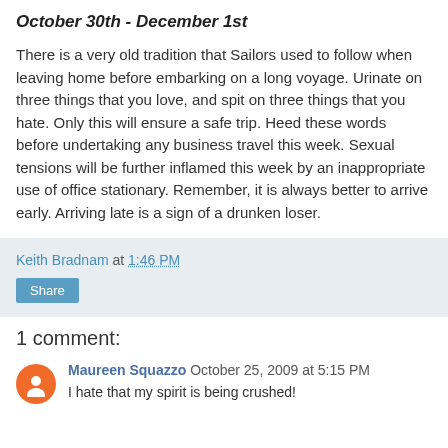October 30th - December 1st
There is a very old tradition that Sailors used to follow when leaving home before embarking on a long voyage. Urinate on three things that you love, and spit on three things that you hate. Only this will ensure a safe trip. Heed these words before undertaking any business travel this week. Sexual tensions will be further inflamed this week by an inappropriate use of office stationary. Remember, it is always better to arrive early. Arriving late is a sign of a drunken loser.
Keith Bradnam at 1:46 PM
Share
1 comment:
Maureen Squazzo  October 25, 2009 at 5:15 PM
I hate that my spirit is being crushed!